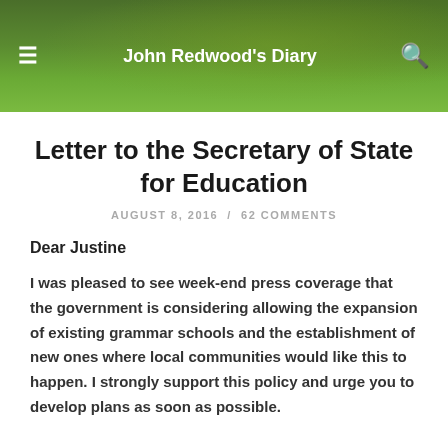John Redwood's Diary
Letter to the Secretary of State for Education
AUGUST 8, 2016 / 62 COMMENTS
Dear Justine
I was pleased to see week-end press coverage that the government is considering allowing the expansion of existing grammar schools and the establishment of new ones where local communities would like this to happen. I strongly support this policy and urge you to develop plans as soon as possible.